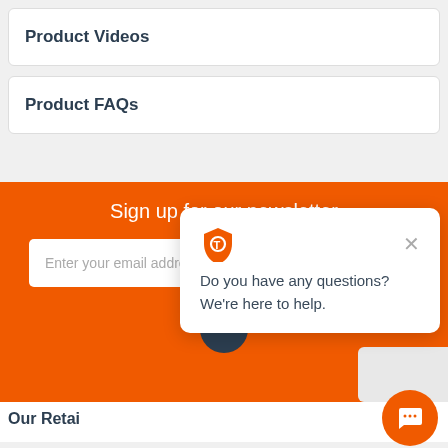Product Videos
Product FAQs
Sign up for our newsletter
Enter your email addre
Do you have any questions? We're here to help.
Our Retai